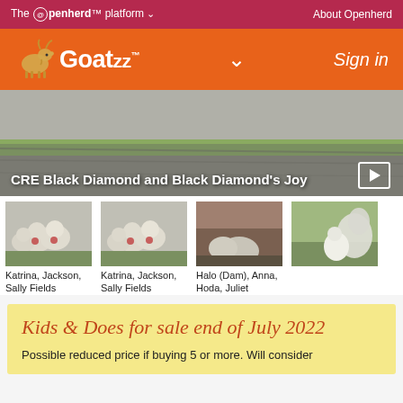The @penherd platform ∨   About Openherd
[Figure (screenshot): Goatzz logo with goat icon on orange background header, with Sign in link]
[Figure (photo): Hero image - CRE Black Diamond and Black Diamond's Joy - outdoor scene with goats]
CRE Black Diamond and Black Diamond's Joy
[Figure (photo): Thumbnail photo of Katrina, Jackson, Sally Fields - baby goats together]
Katrina, Jackson, Sally Fields
[Figure (photo): Thumbnail photo of Katrina, Jackson, Sally Fields - baby goats together (duplicate)]
Katrina, Jackson, Sally Fields
[Figure (photo): Thumbnail photo of Halo (Dam), Anna, Hoda, Juliet - goats in barn]
Halo (Dam), Anna, Hoda, Juliet
[Figure (photo): Thumbnail photo of goats on grass (4th thumbnail)]
Kids & Does for sale end of July 2022
Possible reduced price if buying 5 or more. Will consider